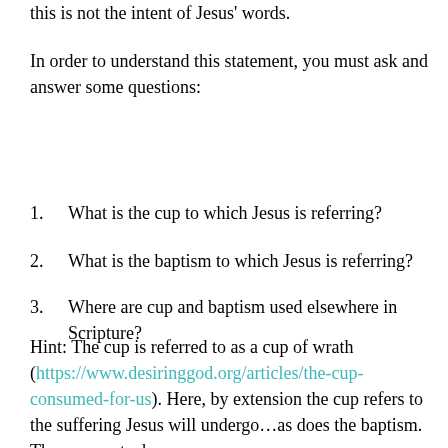this is not the intent of Jesus' words.
In order to understand this statement, you must ask and answer some questions:
1. What is the cup to which Jesus is referring?
2. What is the baptism to which Jesus is referring?
3. Where are cup and baptism used elsewhere in Scripture?
Hint: The cup is referred to as a cup of wrath (https://www.desiringgod.org/articles/the-cup-consumed-for-us). Here, by extension the cup refers to the suffering Jesus will undergo…as does the baptism. They are metaphors.